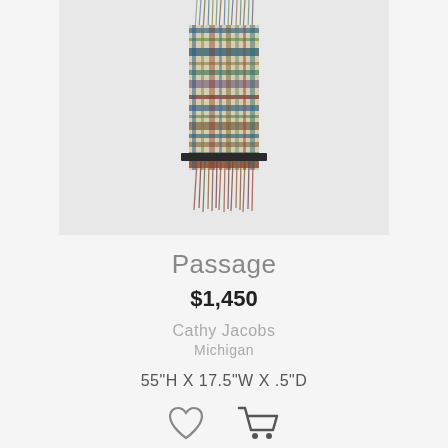[Figure (photo): A plaid textile/scarf artwork hanging vertically, with fringe at both top and bottom ends. The fabric features a multicolored plaid pattern with blues, greens, browns, and whites. Mounted on a dark rod/shelf in the middle.]
Passage
$1,450
Cathy Jacobs
Michigan
55"H X 17.5"W X .5"D
[Figure (illustration): Heart icon (wishlist) and shopping cart icon side by side]